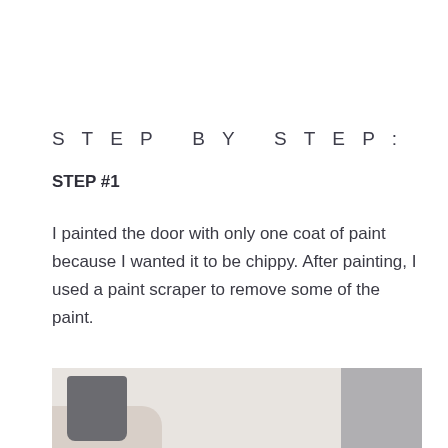STEP BY STEP:
STEP #1
I painted the door with only one coat of paint because I wanted it to be chippy. After painting, I used a paint scraper to remove some of the paint.
[Figure (photo): Photo showing a person's arm in a grey sleeve holding or scraping a white painted surface, with a grey/brown background visible on the right side.]